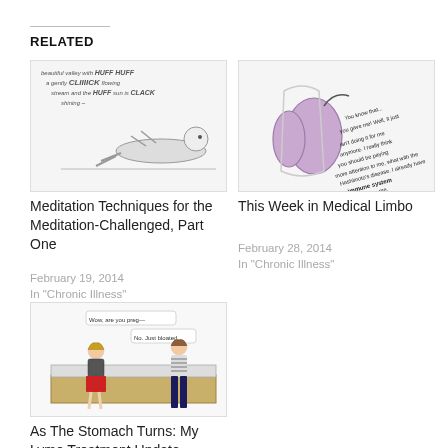RELATED
[Figure (illustration): Hand-drawn illustration of a person lying down meditating with sound effect words HUFF HUFF CLIIIICK CLACK flowing stream and sun shining text]
Meditation Techniques for the Meditation-Challenged, Part One
February 19, 2014
In "Chronic Illness"
[Figure (illustration): Hand-drawn illustration of a thyroid gland with speech bubble text about immune system and Hashimoto's disease]
This Week in Medical Limbo
February 28, 2014
In "Chronic Illness"
[Figure (illustration): Cartoon illustration of two people standing at a counter, one with a bloated belly and speech bubbles saying 'Wow, are you preg—' and 'No. Just bloated.']
As The Stomach Turns: My Lyme Treatment Update
November 23, 2014
In "Chronic Illness"